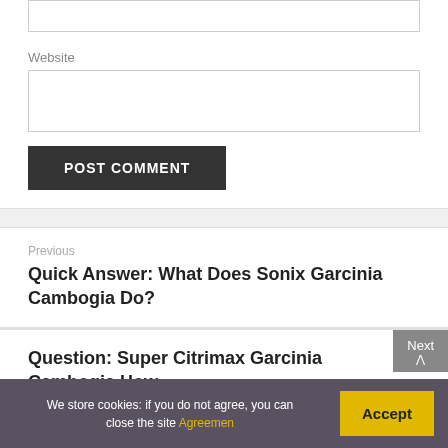Website
POST COMMENT
Previous
Quick Answer: What Does Sonix Garcinia Cambogia Do?
Next
Question: Super Citrimax Garcinia Cambogia How
We store cookies: if you do not agree, you can close the site Agreemen
Accept